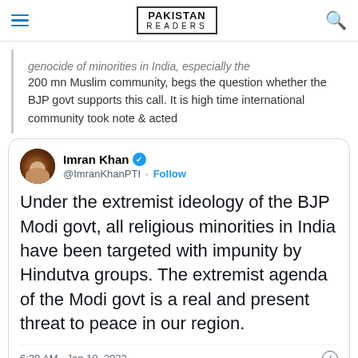Pakistan Readers
genocide of minorities in India, especially the 200 mn Muslim community, begs the question whether the BJP govt supports this call. It is high time international community took note & acted
Imran Khan @ImranKhanPTI · Follow

Under the extremist ideology of the BJP Modi govt, all religious minorities in India have been targeted with impunity by Hindutva groups. The extremist agenda of the Modi govt is a real and present threat to peace in our region.

6:39 AM · Jan 10, 2022

11.6K  Reply  Copy link